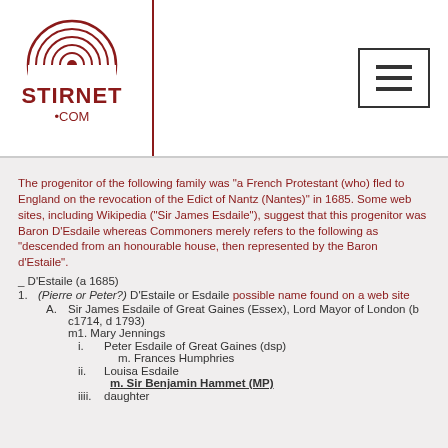Stirnet.com logo and navigation
The progenitor of the following family was "a French Protestant (who) fled to England on the revocation of the Edict of Nantz (Nantes)" in 1685. Some web sites, including Wikipedia ("Sir James Esdaile"), suggest that this progenitor was Baron D'Esdaile whereas Commoners merely refers to the following as "descended from an honourable house, then represented by the Baron d'Estaile".
_ D'Estaile (a 1685)
1. (Pierre or Peter?) D'Estaile or Esdaile possible name found on a web site
A. Sir James Esdaile of Great Gaines (Essex), Lord Mayor of London (b c1714, d 1793)
m1. Mary Jennings
i. Peter Esdaile of Great Gaines (dsp)
m. Frances Humphries
ii. Louisa Esdaile
m. Sir Benjamin Hammet (MP)
iiii. daughter